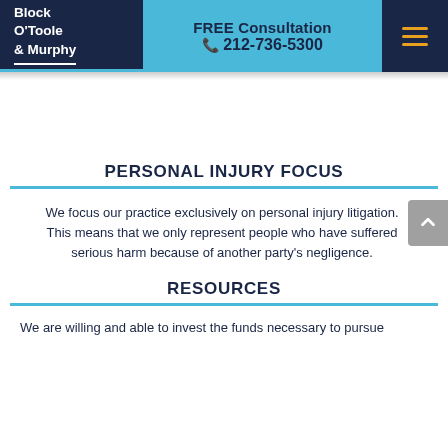Block O'Toole & Murphy | FREE Consultation 212-736-5300
PERSONAL INJURY FOCUS
We focus our practice exclusively on personal injury litigation. This means that we only represent people who have suffered serious harm because of another party's negligence.
RESOURCES
We are willing and able to invest the funds necessary to pursue